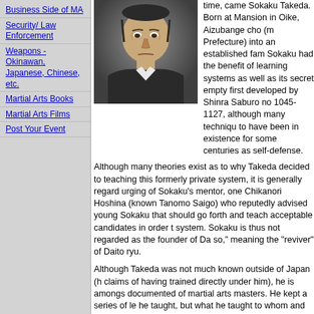Business Side of MA
Security/ Law Enforcement
Weapons - Okinawan, Japanese, Chinese, etc.
Martial Arts Books
Martial Arts Films
Post Your Event
[Figure (photo): Black and white portrait photograph of Sokaku Takeda, an elderly Japanese man with a serious expression, wearing traditional Japanese clothing.]
time, came Sokaku Takeda. Born at Mansion in Oike, Aizubange cho (m Prefecture) into an established fam Sokaku had the benefit of learning systems as well as its secret empty first developed by Shinra Saburo no 1045-1127, although many techniqu to have been in existence for some centuries as self-defense.
Although many theories exist as to why Takeda decided to teaching this formerly private system, it is generally regard urging of Sokaku's mentor, one Chikanori Hoshina (known Tanomo Saigo) who reputedly advised young Sokaku that should go forth and teach acceptable candidates in order t system. Sokaku is thus not regarded as the founder of Da so," meaning the "reviver" of Daito ryu.
Although Takeda was not much known outside of Japan (h claims of having trained directly under him), he is amongs documented of martial arts masters. He kept a series of le he taught, but what he taught to whom and how much the was a vigorous instructor who taught many of Japan's polit law enforcement officials. In 1910 Takeda traveled to Hokk Japan) as an escort for a Police Chief newly transferred to
It was around 1922 that Takeda first began referring to his Aikijujutsu." Prior to this time, he merely referred to Daito r evidenced by his early ledgers which contain such notatio cho" (Daito ryu Jujutsu Director of headquarters).
Although many theories exist as to why this was done, one sought to differentiate his system from others by including